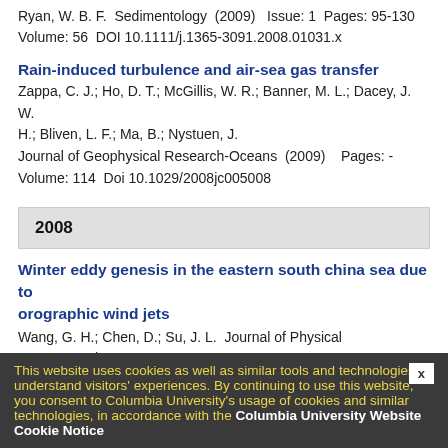Ryan, W. B. F.  Sedimentology  (2009)   Issue: 1  Pages: 95-130
Volume: 56  DOI 10.1111/j.1365-3091.2008.01031.x
Rain-induced turbulence and air-sea gas transfer
Zappa, C. J.; Ho, D. T.; McGillis, W. R.; Banner, M. L.; Dacey, J. W. H.; Bliven, L. F.; Ma, B.; Nystuen, J.
Journal of Geophysical Research-Oceans  (2009)    Pages: -
Volume: 114  Doi 10.1029/2008jc005008
2008
Winter eddy genesis in the eastern south china sea due to orographic wind jets
Wang, G. H.; Chen, D.; Su, J. L.  Journal of Physical Oceanography
(2008)    Issue: 3  Pages: 726-732    Volume: 38
Doi 10.1175/2007jpo3868.1
This website uses cookies as well as similar tools and technologies to understand visitors' experiences. By continuing to use this website, you consent to Columbia University's usage of cookies and similar technologies, in accordance with the Columbia University Website Cookie Notice